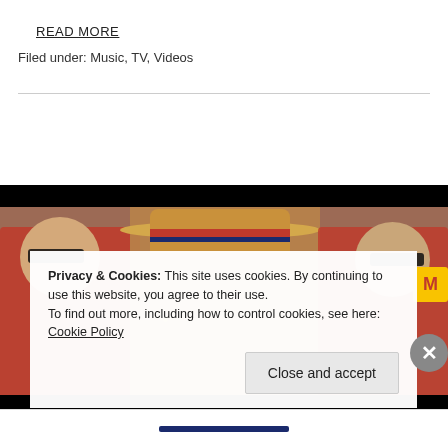READ MORE
Filed under: Music, TV, Videos
[Figure (photo): Screenshot of a music video featuring a man in a straw hat with red and blue stripes in the center, flanked by two men wearing sunglasses and red/white striped suits with bow ties, in front of a brick wall]
Privacy & Cookies: This site uses cookies. By continuing to use this website, you agree to their use. To find out more, including how to control cookies, see here: Cookie Policy
Close and accept